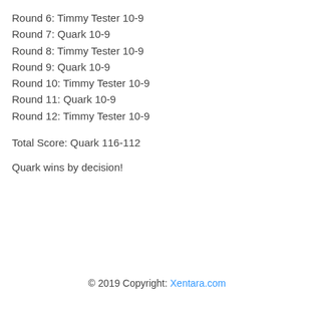Round 6: Timmy Tester 10-9
Round 7: Quark 10-9
Round 8: Timmy Tester 10-9
Round 9: Quark 10-9
Round 10: Timmy Tester 10-9
Round 11: Quark 10-9
Round 12: Timmy Tester 10-9
Total Score: Quark 116-112
Quark wins by decision!
© 2019 Copyright: Xentara.com